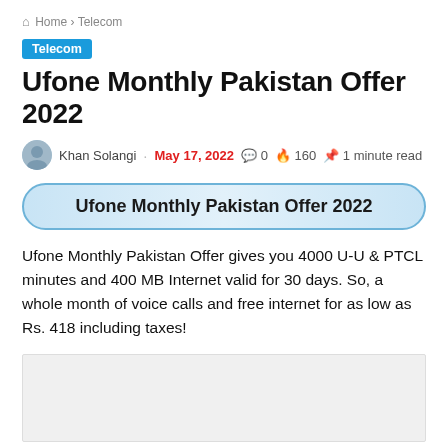Home › Telecom
Telecom
Ufone Monthly Pakistan Offer 2022
Khan Solangi · May 17, 2022 · 0 · 160 · 1 minute read
Ufone Monthly Pakistan Offer 2022
Ufone Monthly Pakistan Offer gives you 4000 U-U & PTCL minutes and 400 MB Internet valid for 30 days. So, a whole month of voice calls and free internet for as low as Rs. 418 including taxes!
[Figure (other): Advertisement placeholder box]